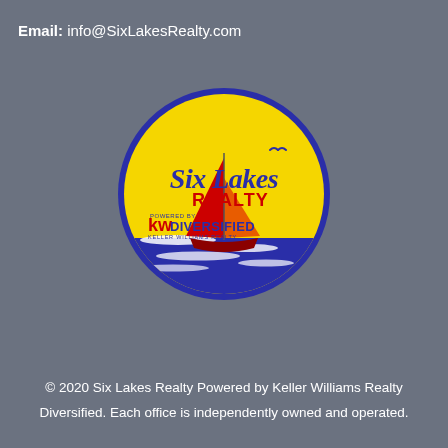Email: info@SixLakesRealty.com
[Figure (logo): Six Lakes Realty logo — circular badge with yellow background, blue script 'Six Lakes' text, red 'REALTY' text, red sailboat with orange sail highlight, blue wave water at bottom, 'POWERED BY kw DIVERSIFIED KELLER WILLIAMS REALTY' text]
© 2020 Six Lakes Realty Powered by Keller Williams Realty Diversified. Each office is independently owned and operated.